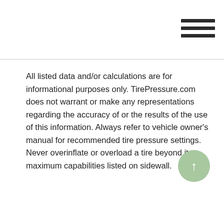All listed data and/or calculations are for informational purposes only. TirePressure.com does not warrant or make any representations regarding the accuracy of or the results of the use of this information. Always refer to vehicle owner's manual for recommended tire pressure settings. Never overinflate or overload a tire beyond its maximum capabilities listed on sidewall.